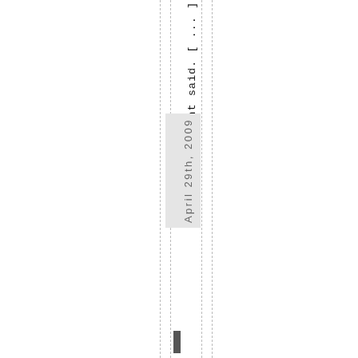ment said. [ ... ]
April 29th, 2009